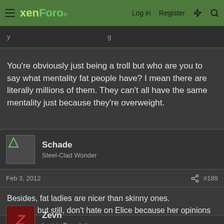xenForo | Log in | Register
You're obviously just being a troll but who are you to say what mentality fat people have? I mean there are literally millions of them. They can't all have the same mentality just because they're overweight.
Schade
Steel-Clad Wonder
Feb 3, 2012 #189
Besides, fat ladies are nicer than skinny ones.
It's true. but still, don't hate on Elice because her opinions are... special
Zevn
Lost in Translation